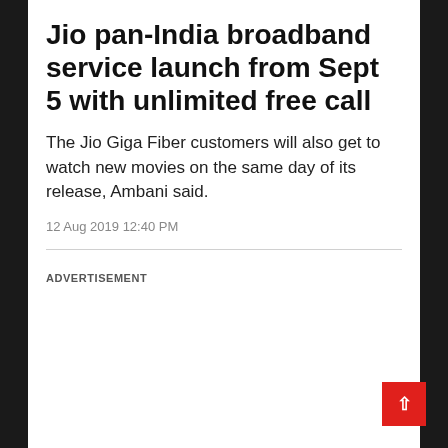Jio pan-India broadband service launch from Sept 5 with unlimited free call
The Jio Giga Fiber customers will also get to watch new movies on the same day of its release, Ambani said.
12 Aug 2019 12:40 PM
ADVERTISEMENT